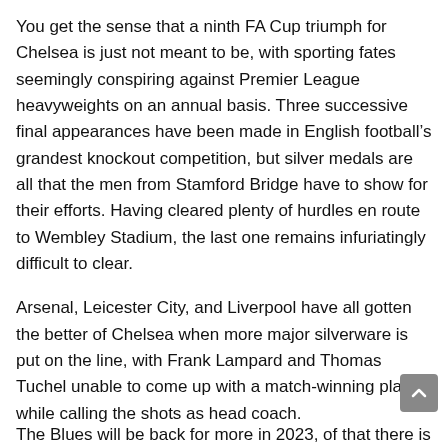You get the sense that a ninth FA Cup triumph for Chelsea is just not meant to be, with sporting fates seemingly conspiring against Premier League heavyweights on an annual basis. Three successive final appearances have been made in English football's grandest knockout competition, but silver medals are all that the men from Stamford Bridge have to show for their efforts. Having cleared plenty of hurdles en route to Wembley Stadium, the last one remains infuriatingly difficult to clear.
Arsenal, Leicester City, and Liverpool have all gotten the better of Chelsea when more major silverware is put on the line, with Frank Lampard and Thomas Tuchel unable to come up with a match-winning plan while calling the shots as head coach.
The Blues will be back for more in 2023, of that there is no...